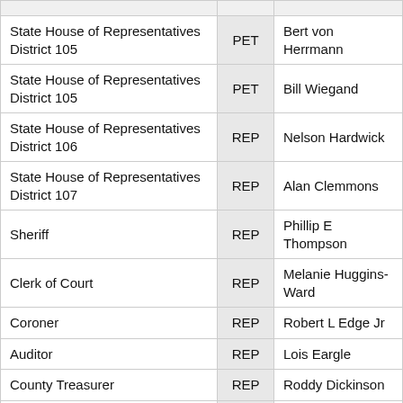| Office | Party | Candidate |
| --- | --- | --- |
| State House of Representatives District 105 | PET | Bert von Herrmann |
| State House of Representatives District 105 | PET | Bill Wiegand |
| State House of Representatives District 106 | REP | Nelson Hardwick |
| State House of Representatives District 107 | REP | Alan Clemmons |
| Sheriff | REP | Phillip E Thompson |
| Clerk of Court | REP | Melanie Huggins-Ward |
| Coroner | REP | Robert L Edge Jr |
| Auditor | REP | Lois Eargle |
| County Treasurer | REP | Roddy Dickinson |
| County Council District 3 | DEM | Marion Foxworth |
| County Council District 4 | REP | ... |